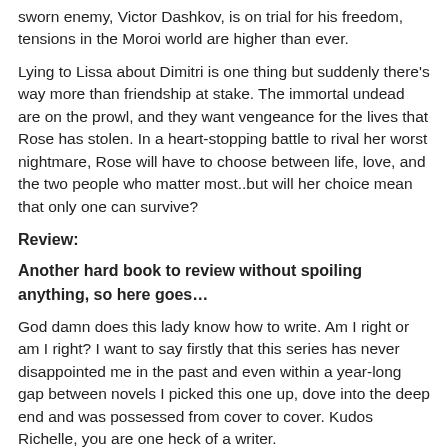sworn enemy, Victor Dashkov, is on trial for his freedom, tensions in the Moroi world are higher than ever.
Lying to Lissa about Dimitri is one thing but suddenly there's way more than friendship at stake. The immortal undead are on the prowl, and they want vengeance for the lives that Rose has stolen. In a heart-stopping battle to rival her worst nightmare, Rose will have to choose between life, love, and the two people who matter most..but will her choice mean that only one can survive?
Review:
Another hard book to review without spoiling anything, so here goes…
God damn does this lady know how to write. Am I right or am I right? I want to say firstly that this series has never disappointed me in the past and even within a year-long gap between novels I picked this one up, dove into the deep end and was possessed from cover to cover. Kudos Richelle, you are one heck of a writer.